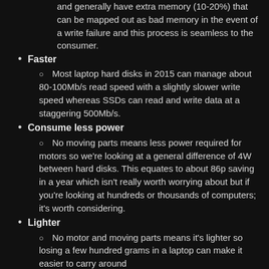and generally have extra memory (10-20%) that can be mapped out as bad memory in the event of a write failure and this process is seamless to the consumer.
Faster
Most laptop hard disks in 2015 can manage about 80-100Mb/s read speed with a slightly slower write speed whereas SSDs can read and write data at a staggering 500Mb/s.
Consume less power
No moving parts means less power required for motors so we're looking at a general difference of 4W between hard disks. This equates to about 86p saving in a year which isn't really worth worrying about but if you're looking at hundreds or thousands of computers; it's worth considering.
Lighter
No motor and moving parts means it's lighter so losing a few hundred grams in a laptop can make it easier to carry around